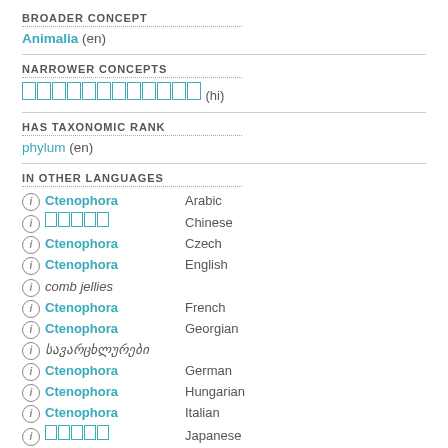BROADER CONCEPT
Animalia (en)
NARROWER CONCEPTS
[Hindi text] (hi)
HAS TAXONOMIC RANK
phylum (en)
IN OTHER LANGUAGES
Ctenophora  Arabic
[Chinese text]  Chinese
Ctenophora  Czech
Ctenophora  English
comb jellies
Ctenophora  French
Ctenophora  Georgian
სავარცხლურები
Ctenophora  German
Ctenophora  Hungarian
Ctenophora  Italian
[Japanese text]  Japanese